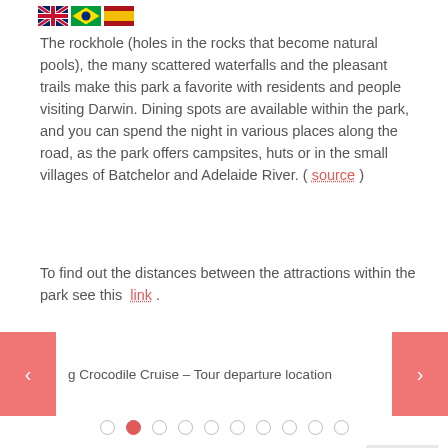[Figure (illustration): Three flag icons: UK flag, Brazil flag, Spain flag]
The rockhole (holes in the rocks that become natural pools), the many scattered waterfalls and the pleasant trails make this park a favorite with residents and people visiting Darwin. Dining spots are available within the park, and you can spend the night in various places along the road, as the park offers campsites, huts or in the small villages of Batchelor and Adelaide River. ( source )
To find out the distances between the attractions within the park see this link .
[Figure (screenshot): Carousel UI element showing 'g Crocodile Cruise - Tour departure location' with left and right pink arrow buttons]
[Figure (infographic): Carousel dot navigation: 10 dots, second dot is active/filled red]
# 2 day: Darwin Beaches, Botanic Garden, Wave Lagoon and Mindil Beach
For our second day in the capital of the Northern